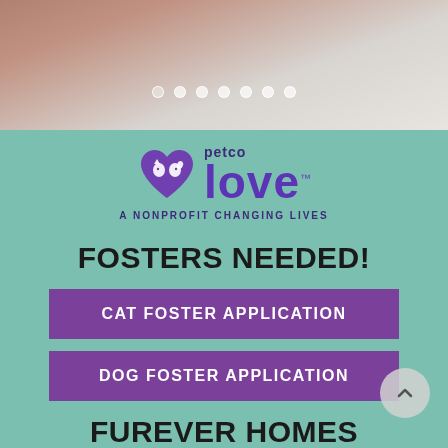[Figure (photo): Top photo showing a close-up of what appears to be a pet (dog/cat) in a light-colored setting with carousel navigation dots overlay]
[Figure (logo): Petco Love nonprofit logo — purple heart with dog and cat silhouettes, 'petco love' text and 'A NONPROFIT CHANGING LIVES' tagline]
FOSTERS NEEDED!
CAT FOSTER APPLICATION
DOG FOSTER APPLICATION
FUREVER HOMES NEEDED!
If you are ready to take home